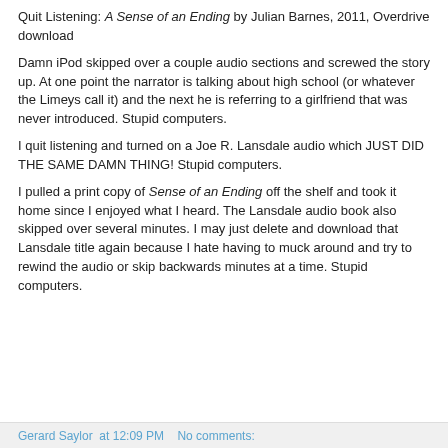Quit Listening: A Sense of an Ending by Julian Barnes, 2011, Overdrive download
Damn iPod skipped over a couple audio sections and screwed the story up.  At one point the narrator is talking about high school (or whatever the Limeys call it) and the next he is referring to a girlfriend that was never introduced.  Stupid computers.
I quit listening and turned on a Joe R. Lansdale audio which JUST DID THE SAME DAMN THING!  Stupid computers.
I pulled a print copy of Sense of an Ending off the shelf and took it home since I enjoyed what I heard.  The Lansdale audio book also skipped over several minutes.  I may just delete and download that Lansdale title again because I hate having to muck around and try to rewind the audio or skip backwards minutes at a time.  Stupid computers.
Gerard Saylor at 12:09 PM    No comments: